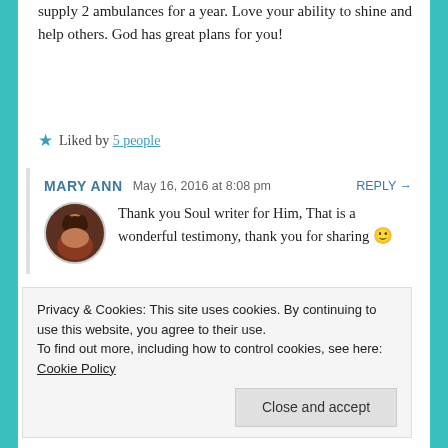supply 2 ambulances for a year. Love your ability to shine and help others. God has great plans for you!
★ Liked by 5 people
MARY ANN  May 16, 2016 at 8:08 pm  REPLY →
[Figure (photo): Circular avatar photo of a woman with dark hair]
Thank you Soul writer for Him, That is a wonderful testimony, thank you for sharing 🙂
Privacy & Cookies: This site uses cookies. By continuing to use this website, you agree to their use.
To find out more, including how to control cookies, see here: Cookie Policy
Close and accept